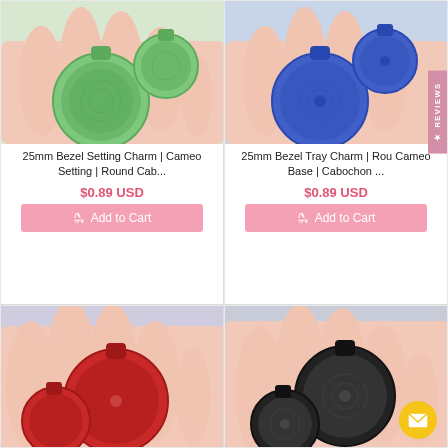[Figure (photo): Hand holding green round 25mm bezel setting charms]
25mm Bezel Setting Charm | Cameo Setting | Round Cab...
$0.89 USD
Add to Cart
[Figure (photo): Hand holding blue round 25mm bezel tray charms]
25mm Bezel Tray Charm | Rou Cameo Base | Cabochon ...
$0.89 USD
Add to Cart
[Figure (photo): Hand holding red round 25mm bezel setting charms]
[Figure (photo): Hand holding black round 25mm bezel setting charms with yellow envelope icon]